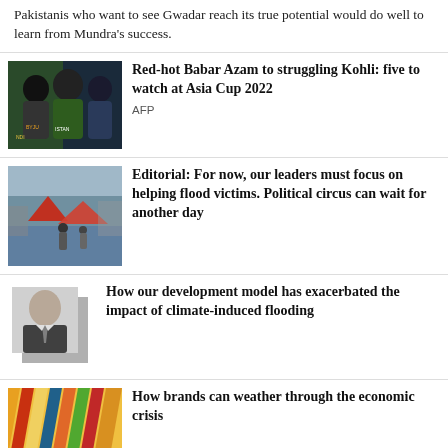Pakistanis who want to see Gwadar reach its true potential would do well to learn from Mundra's success.
[Figure (photo): Cricket players including Babar Azam and Virat Kohli]
Red-hot Babar Azam to struggling Kohli: five to watch at Asia Cup 2022
AFP
[Figure (photo): Flood scene with red tents and people wading through water]
Editorial: For now, our leaders must focus on helping flood victims. Political circus can wait for another day
[Figure (photo): Black and white portrait of a man in a suit]
How our development model has exacerbated the impact of climate-induced flooding
[Figure (photo): Colorful pencils or similar striped pattern]
How brands can weather through the economic crisis